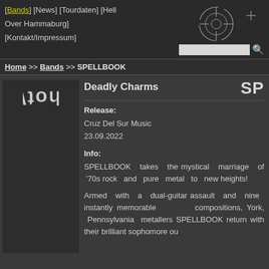[Bands] [News] [Tourdaten] [Hell Over Hammaburg] [Kontakt/Impressum]
[Figure (illustration): Crosshair/target scope graphic in top right corner of navigation header]
Home >> Bands >> SPELLBOOK
[Figure (logo): SureShotWorx vertical logo text in sidebar]
Deadly Charms
SE (partial letters of SPELLBOOK logo cut off on right)
Release:
Cruz Del Sur Music
23.09.2022
Info:
SPELLBOOK takes the mystical marriage of '70s rock and pure metal to new heights!
Armed with a dual-guitar assault and nine instantly memorable compositions, York, Pennsylvania metallers SPELLBOOK return with their brilliant sophomore ou